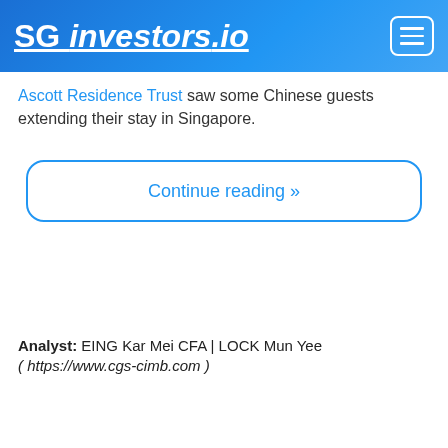SG investors.io
Ascott Residence Trust saw some Chinese guests extending their stay in Singapore.
Continue reading »
Analyst: EING Kar Mei CFA | LOCK Mun Yee
( https://www.cgs-cimb.com )